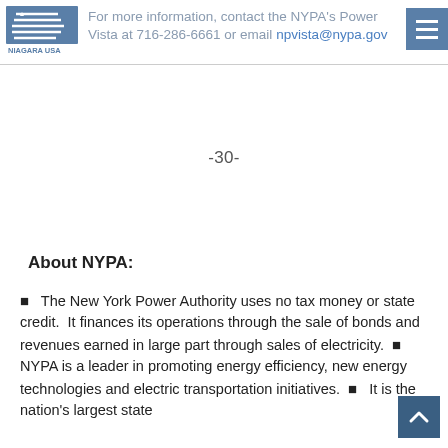For more information, contact the NYPA's Power Vista at 716-286-6661 or email npvista@nypa.gov
-30-
About NYPA:
The New York Power Authority uses no tax money or state credit.  It finances its operations through the sale of bonds and revenues earned in large part through sales of electricity.
NYPA is a leader in promoting energy efficiency, new energy technologies and electric transportation initiatives.
It is the nation's largest state